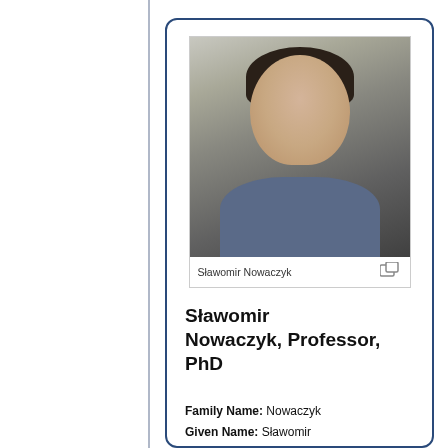[Figure (photo): Portrait photo of Sławomir Nowaczyk, a man with dark hair wearing a blue/grey collared shirt, against a light grey background.]
Sławomir Nowaczyk
Sławomir Nowaczyk, Professor, PhD
Family Name: Nowaczyk
Given Name: Sławomir